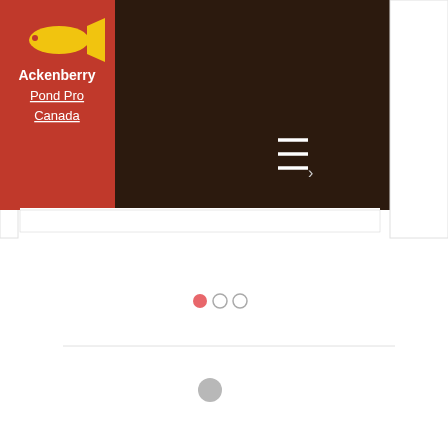[Figure (screenshot): Website screenshot showing Ackenberry Pond Pro Canada logo on a red background with a yellow fish icon, next to a dark brown/black navigation bar header with a hamburger menu icon (three horizontal white lines). Below are three carousel dots (one filled pink/red, two gray). A horizontal divider line separates from the lower half which shows a loading spinner (gray circle) on a white background.]